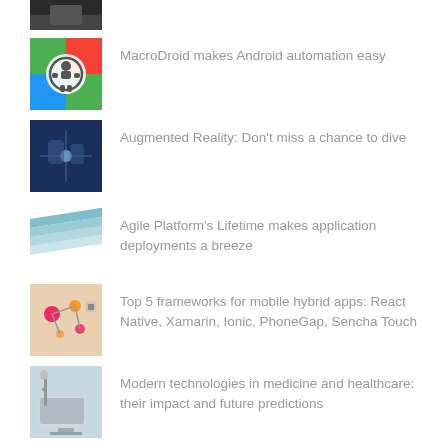[Figure (photo): Partial thumbnail image at top, cropped]
MacroDroid makes Android automation easy
Augmented Reality: Don't miss a chance to dive
Agile Platform's Lifetime makes application deployments a breeze
Top 5 frameworks for mobile hybrid apps: React Native, Xamarin, Ionic, PhoneGap, Sencha Touch
Modern technologies in medicine and healthcare: their impact and future predictions
Follow Us